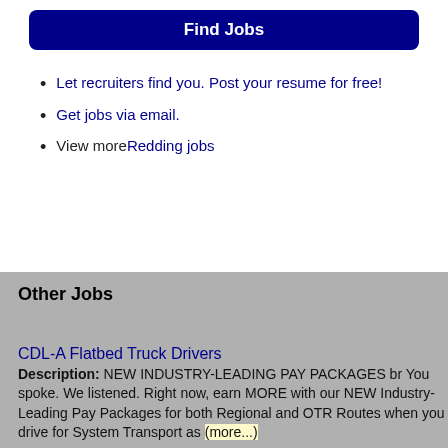[Figure (other): Find Jobs button - dark navy blue rounded rectangle button with white bold text 'Find Jobs']
Let recruiters find you. Post your resume for free!
Get jobs via email.
View more Redding jobs
Other Jobs
This website uses cookies to ensure you get the best experience on our website.
Learn more
CDL-A Flatbed Truck Drivers
Description: NEW INDUSTRY-LEADING PAY PACKAGES br You spoke. We listened. Right now, earn MORE with our NEW Industry-Leading Pay Packages for both Regional and OTR Routes when you drive for System Transport as (more...)
Company: System--Transport
Location: Redding